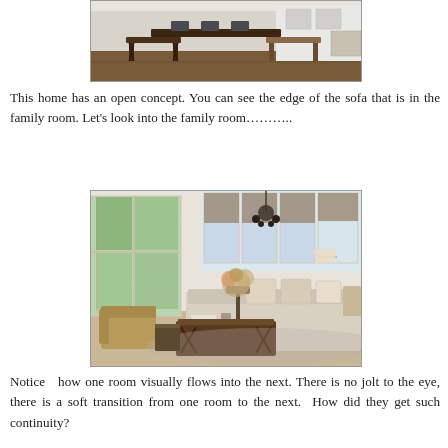[Figure (photo): Interior photo of a dining room with dark wood floors, a dining table with chairs and a bench, open concept showing edge of sofa in family room]
This home has an open concept. You can see the edge of the sofa that is in the family room. Let's look into the family room………..
[Figure (photo): Interior photo of a bright family room with neutral sofas, a coffee table, armchairs, large windows with roman shades, French doors, and floral arrangement]
Notice  how one room visually flows into the next. There is no jolt to the eye, there is a soft transition from one room to the next.  How did they get such continuity?